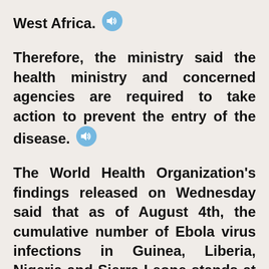West Africa. [speaker icon]
Therefore, the ministry said the health ministry and concerned agencies are required to take action to prevent the entry of the disease. [speaker icon]
The World Health Organization's findings released on Wednesday said that as of August 4th, the cumulative number of Ebola virus infections in Guinea, Liberia, Nigeria and Sierra Leone stands at 1,711, including 932 deaths. [speaker icon]
This is Nick Veinot. We will be back with more